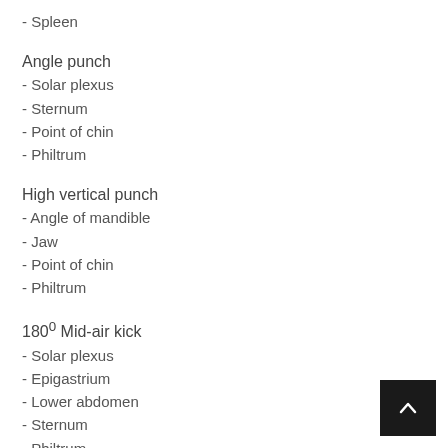- Spleen
Angle punch
- Solar plexus
- Sternum
- Point of chin
- Philtrum
High vertical punch
- Angle of mandible
- Jaw
- Point of chin
- Philtrum
180° Mid-air kick
- Solar plexus
- Epigastrium
- Lower abdomen
- Sternum
- Philtrum